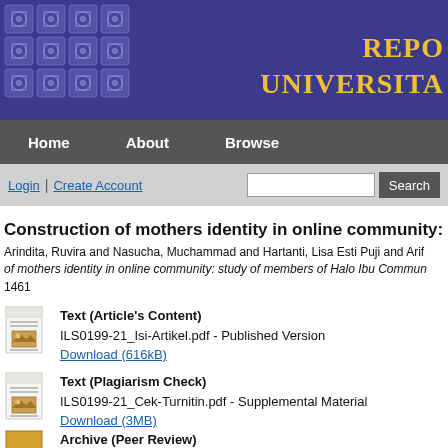[Figure (logo): University repository header banner with blue background, ornamental tile pattern on left, and yellow serif text 'REPO UNIVERSITA' on right]
Home   About   Browse
Login | Create Account   [search box]   Search
Construction of mothers identity in online community: s...
Arindita, Ruvira and Nasucha, Muchammad and Hartanti, Lisa Esti Puji and Arif... of mothers identity in online community: study of members of Halo Ibu Commun... 1461
Text (Article's Content)
ILS0199-21_Isi-Artikel.pdf - Published Version
Download (616kB)
Text (Plagiarism Check)
ILS0199-21_Cek-Turnitin.pdf - Supplemental Material
Download (3MB)
Archive (Peer Review)
ILS0199-21_Penilaian-Sejawat_Muchammad-Nasucha.pdf - Supplemental Materi...